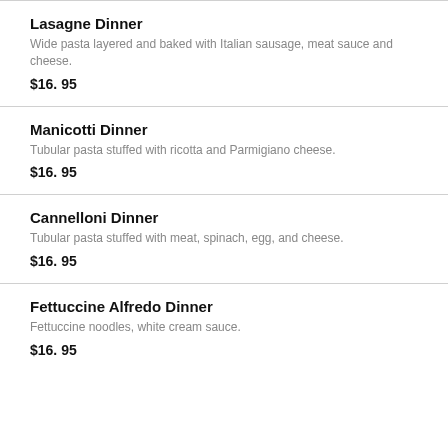Lasagne Dinner
Wide pasta layered and baked with Italian sausage, meat sauce and cheese.
$16. 95
Manicotti Dinner
Tubular pasta stuffed with ricotta and Parmigiano cheese.
$16. 95
Cannelloni Dinner
Tubular pasta stuffed with meat, spinach, egg, and cheese.
$16. 95
Fettuccine Alfredo Dinner
Fettuccine noodles, white cream sauce.
$16. 95